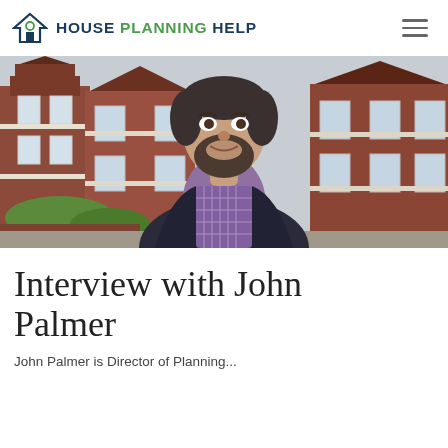House Planning Help
[Figure (photo): A man with a beard wearing a purple checked shirt and dark jacket, standing in front of a row of red-brick Victorian terraced houses on a residential street.]
Interview with John Palmer
John Palmer is Director of Planning...